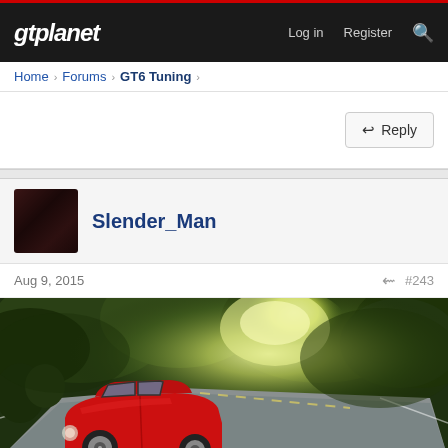gtplanet — Log in  Register
Home > Forums > GT6 Tuning >
Reply
Slender_Man
Aug 9, 2015  #243
[Figure (photo): Red compact car (Mini-style) driving on a winding road surrounded by lush green trees with light filtering through the canopy]